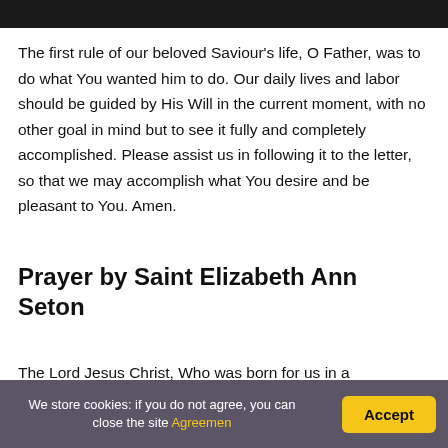[Figure (photo): Dark image strip at the top of the page]
The first rule of our beloved Saviour's life, O Father, was to do what You wanted him to do. Our daily lives and labor should be guided by His Will in the current moment, with no other goal in mind but to see it fully and completely accomplished. Please assist us in following it to the letter, so that we may accomplish what You desire and be pleasant to You. Amen.
Prayer by Saint Elizabeth Ann Seton
The Lord Jesus Christ, Who was born for us in a
We store cookies: if you do not agree, you can close the site Agreemen